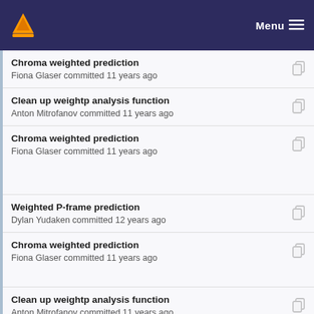VLC Menu
Chroma weighted prediction
Fiona Glaser committed 11 years ago
Clean up weightp analysis function
Anton Mitrofanov committed 11 years ago
Chroma weighted prediction
Fiona Glaser committed 11 years ago
Weighted P-frame prediction
Dylan Yudaken committed 12 years ago
Chroma weighted prediction
Fiona Glaser committed 11 years ago
Clean up weightp analysis function
Anton Mitrofanov committed 11 years ago